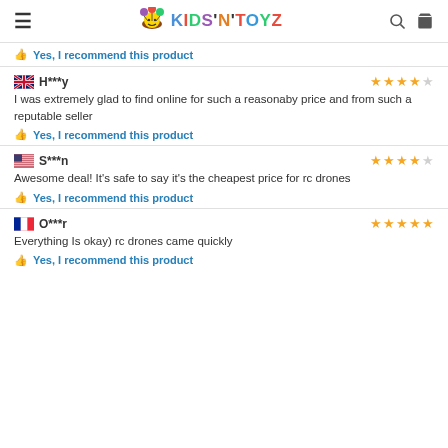KIDS'N'TOYZ
Yes, I recommend this product
H***y — 4 stars
I was extremely glad to find online for such a reasonaby price and from such a reputable seller
Yes, I recommend this product
S***n — 4 stars
Awesome deal! It's safe to say it's the cheapest price for rc drones
Yes, I recommend this product
O***r — 5 stars
Everything Is okay) rc drones came quickly
Yes, I recommend this product